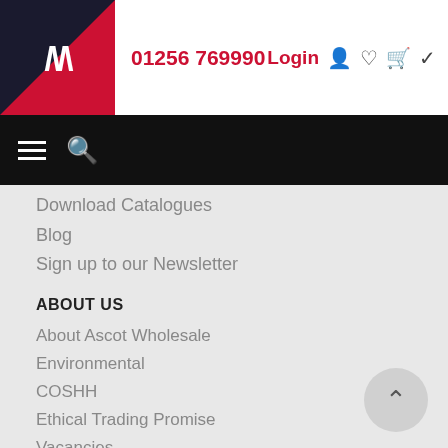01256 769990  Login
Download Catalogues
Blog
Sign up to our Newsletter
ABOUT US
About Ascot Wholesale
Environmental
COSHH
Ethical Trading Promise
Vacancies
Contact Us
Sitemap
OPENING HOURS
Monday   9:00 a.m. - 5:00 p.m.